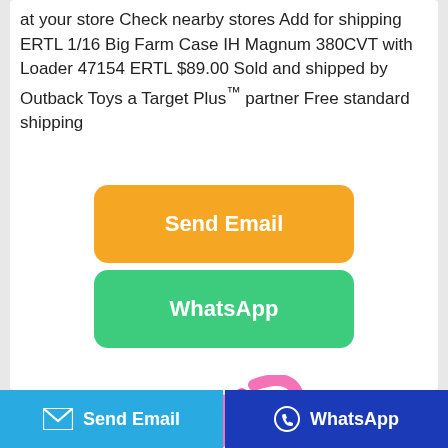at your store Check nearby stores Add for shipping ERTL 1/16 Big Farm Case IH Magnum 380CVT with Loader 47154 ERTL $89.00 Sold and shipped by Outback Toys a Target Plus™ partner Free standard shipping
[Figure (screenshot): Orange rounded button labeled 'Send Email']
[Figure (screenshot): Green rounded button labeled 'WhatsApp']
[Figure (photo): Pink children's hair brush/comb product image (partial, cropped)]
[Figure (screenshot): Bottom navigation bar with two buttons: blue 'Send Email' button on the left with envelope icon, and dark blue 'WhatsApp' button on the right with phone icon]